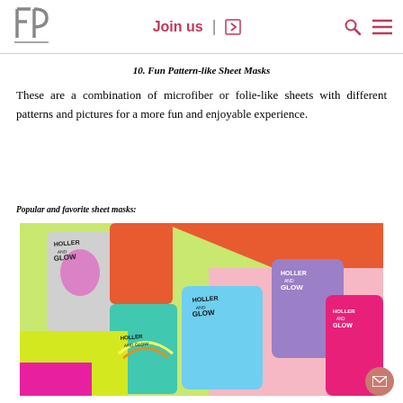[Figure (logo): FP brand logo — stylized letters F and P in grey with underline]
Join us  |  →  🔍  ☰
10. Fun Pattern-like Sheet Masks
These are a combination of microfiber or folie-like sheets with different patterns and pictures for a more fun and enjoyable experience.
Popular and favorite sheet masks:
[Figure (photo): Colorful 'Holler and Glow' sheet mask packets arranged on a multi-colored background (green, orange, pink, blue, purple, magenta). Packets feature illustrated face designs.]